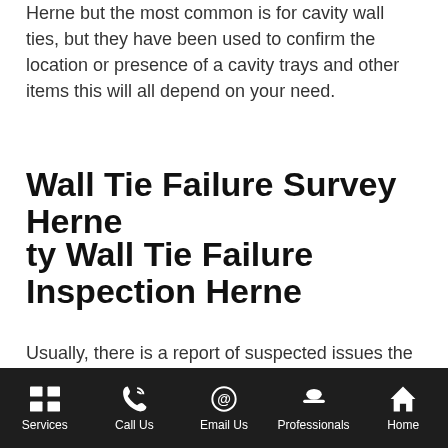Herne but the most common is for cavity wall ties, but they have been used to confirm the location or presence of a cavity trays and other items this will all depend on your need.
Wall Tie Failure Survey Herne
Contact Us
ty Wall Tie Failure Inspection Herne
Usually, there is a report of suspected issues the most common being minor cracking in the mortar bedding where wall ties are expected to be, On our surveys, we would usually already have confirmed
Services | Call Us | Email Us | Professionals | Home